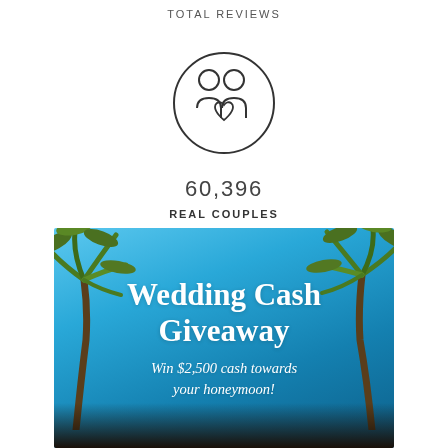TOTAL REVIEWS
[Figure (illustration): Circular icon showing two people (couple) with a heart shape, line art style]
60,396
REAL COUPLES
[Figure (photo): Promotional banner with tropical beach background (palm trees, blue sky) and text: Wedding Cash Giveaway — Win $2,500 cash towards your honeymoon!]